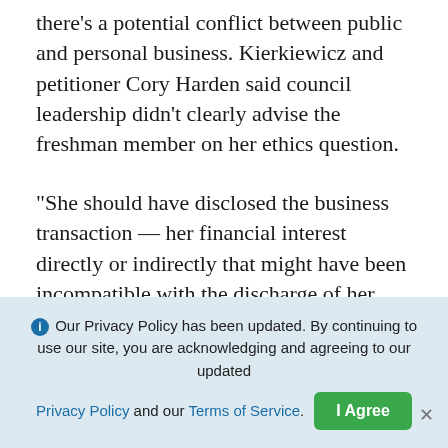there's a potential conflict between public and personal business. Kierkiewicz and petitioner Cory Harden said council leadership didn't clearly advise the freshman member on her ethics question.
“She should have disclosed the business transaction — her financial interest directly or indirectly that might have been incompatible with the discharge of her official duties,” said board member Nan Sumner-Mack.
Board member Rick Robinson agreed.
“Disclosure should have been made for at a...
Our Privacy Policy has been updated. By continuing to use our site, you are acknowledging and agreeing to our updated Privacy Policy and our Terms of Service.